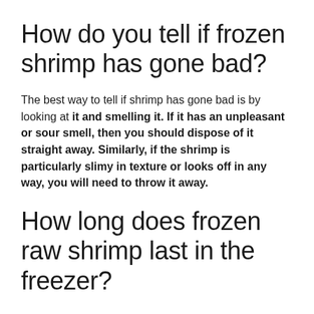How do you tell if frozen shrimp has gone bad?
The best way to tell if shrimp has gone bad is by looking at it and smelling it. If it has an unpleasant or sour smell, then you should dispose of it straight away. Similarly, if the shrimp is particularly slimy in texture or looks off in any way, you will need to throw it away.
How long does frozen raw shrimp last in the freezer?